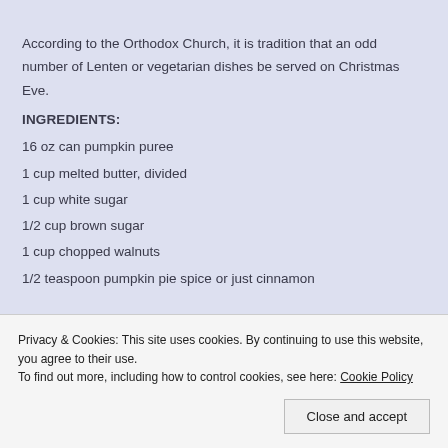According to the Orthodox Church, it is tradition that an odd number of Lenten or vegetarian dishes be served on Christmas Eve.
INGREDIENTS:
16 oz can pumpkin puree
1 cup melted butter, divided
1 cup white sugar
1/2 cup brown sugar
1 cup chopped walnuts
1/2 teaspoon pumpkin pie spice or just cinnamon
Privacy & Cookies: This site uses cookies. By continuing to use this website, you agree to their use.
To find out more, including how to control cookies, see here: Cookie Policy